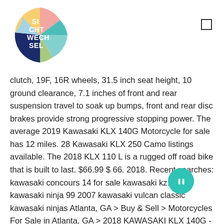[Figure (logo): Circular logo with colorful segments (yellow, teal, dark navy, light blue, green, pink) and white text reading 'SI CHT WECH SEL']
[Figure (other): Small square/rectangle menu or UI icon outline in the top right]
clutch, 19F, 16R wheels, 31.5 inch seat height, 10 ground clearance, 7.1 inches of front and rear suspension travel to soak up bumps, front and rear disc brakes provide strong progressive stopping power. The average 2019 Kawasaki KLX 140G Motorcycle for sale has 12 miles. 28 Kawasaki KLX 250 Camo listings available. The 2018 KLX 110 L is a rugged off road bike that is built to last. $66.99 $ 66. 2018. Recent searches: kawasaki concours 14 for sale kawasaki kz1100 kawasaki ninja 99 2007 kawasaki vulcan classic kawasaki ninjas Atlanta, GA > Buy & Sell > Motorcycles For Sale in Atlanta, GA > 2018 KAWASAKI KLX 140G - $4999